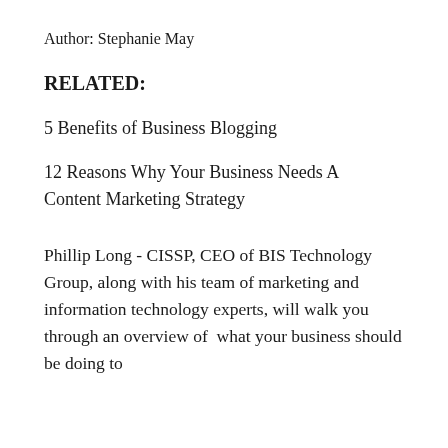Author: Stephanie May
RELATED:
5 Benefits of Business Blogging
12 Reasons Why Your Business Needs A Content Marketing Strategy
Phillip Long - CISSP, CEO of BIS Technology Group, along with his team of marketing and information technology experts, will walk you through an overview of  what your business should be doing to